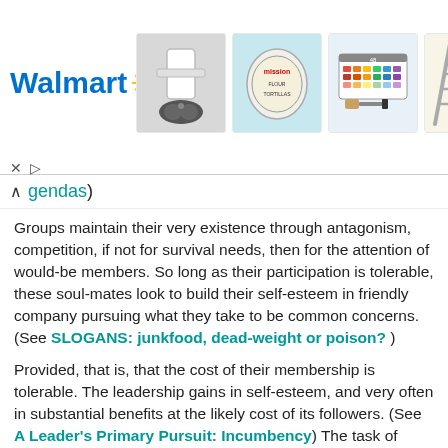[Figure (screenshot): Walmart advertisement banner showing Walmart logo and product images including a PS5 console, Mission tortillas, art supplies, and a ladder]
agendas)
Groups maintain their very existence through antagonism, competition, if not for survival needs, then for the attention of would-be members. So long as their participation is tolerable, these soul-mates look to build their self-esteem in friendly company pursuing what they take to be common concerns. (See SLOGANS: junkfood, dead-weight or poison? )
Provided, that is, that the cost of their membership is tolerable. The leadership gains in self-esteem, and very often in substantial benefits at the likely cost of its followers. (See A Leader's Primary Pursuit: Incumbency) The task of leadership, of providing motive for the organization, and for its continuation, is made easier, the more they can convince members that there is a threat from competing